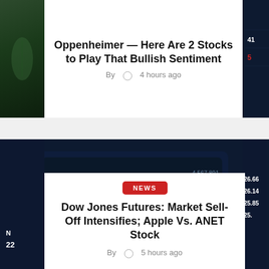Oppenheimer — Here Are 2 Stocks to Play That Bullish Sentiment
By  4 hours ago
[Figure (photo): Dark green stock market background image on left thumbnail]
[Figure (photo): Dark blue stock market numbers screen on right thumbnail]
[Figure (photo): Stock market trading screen showing PREVIOUS CLOSE 24.81, TAL VOLUME 23,149 and other numbers]
NEWS
Dow Jones Futures: Market Sell-Off Intensifies; Apple Vs. ANET Stock
By  5 hours ago